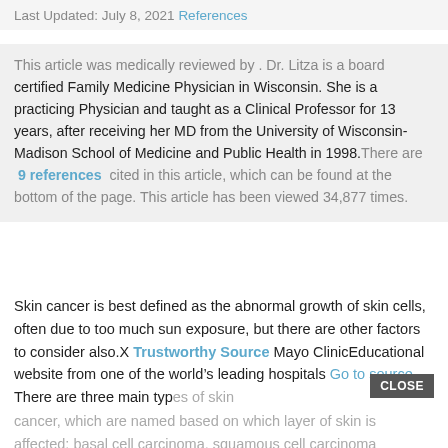Last Updated: July 8, 2021 References
This article was medically reviewed by . Dr. Litza is a board certified Family Medicine Physician in Wisconsin. She is a practicing Physician and taught as a Clinical Professor for 13 years, after receiving her MD from the University of Wisconsin-Madison School of Medicine and Public Health in 1998.There are 9 references cited in this article, which can be found at the bottom of the page. This article has been viewed 34,877 times.
Skin cancer is best defined as the abnormal growth of skin cells, often due to too much sun exposure, but there are other factors to consider also.X Trustworthy Source Mayo ClinicEducational website from one of the world’s leading hospitals Go to source There are three main types of skin cancer, which are named based on which layer of skin is affected: basal cell carcinoma, squamous cell carcinoma